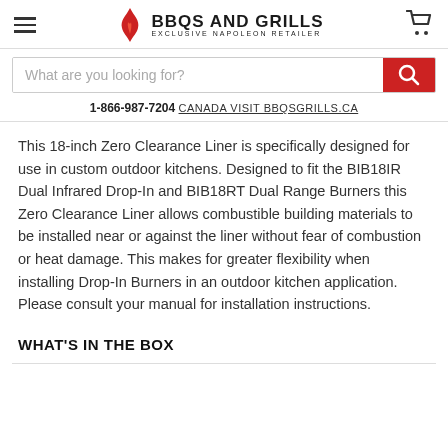BBQS AND GRILLS EXCLUSIVE NAPOLEON RETAILER
What are you looking for?
1-866-987-7204 CANADA VISIT BBQSGRILLS.CA
This 18-inch Zero Clearance Liner is specifically designed for use in custom outdoor kitchens. Designed to fit the BIB18IR Dual Infrared Drop-In and BIB18RT Dual Range Burners this Zero Clearance Liner allows combustible building materials to be installed near or against the liner without fear of combustion or heat damage. This makes for greater flexibility when installing Drop-In Burners in an outdoor kitchen application. Please consult your manual for installation instructions.
WHAT'S IN THE BOX